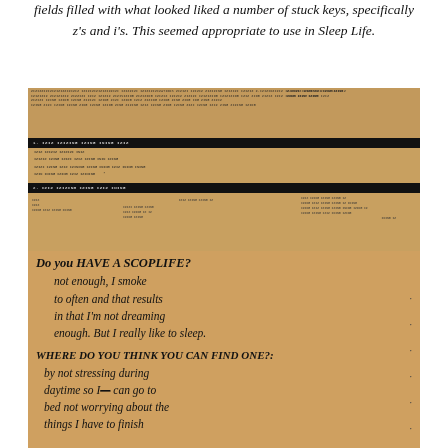fields filled with what looked liked a number of stuck keys, specifically z's and i's. This seemed appropriate to use in Sleep Life.
[Figure (photo): A photograph of a handwritten questionnaire/form on a printed document. The form has printed text at the top (mostly illegible small type and black header bars). Below, handwritten answers fill the form. The handwritten text reads: 'Do you have a scoplife? not enough, I smoke to often and that results in that I'm not dreaming enough. But I really like to sleep.' and 'WHERE DO YOU THINK YOU CAN FIND ONE?: by not stressing during daytime so I can go to bed not worrying about the things I have to finish']